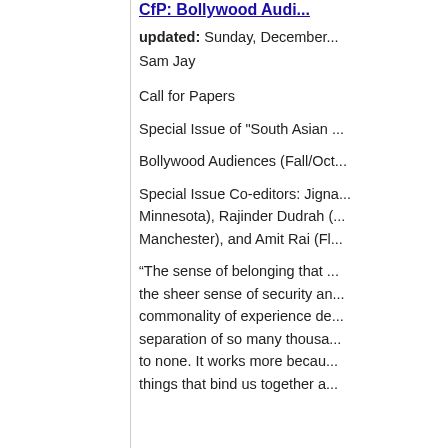CfP: Bollywood Audi...
updated: Sunday, December...
Sam Jay
Call for Papers
Special Issue of "South Asian ...
Bollywood Audiences (Fall/Oct...
Special Issue Co-editors: Jigna..., Minnesota), Rajinder Dudrah (...), Manchester), and Amit Rai (Fl...
“The sense of belonging that ... the sheer sense of security an... commonality of experience de... separation of so many thousa... to none. It works more becau... things that bind us together a...